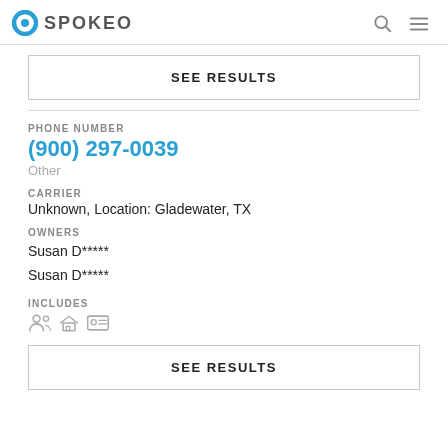SPOKEO
SEE RESULTS
PHONE NUMBER
(900) 297-0039
Other
CARRIER
Unknown, Location: Gladewater, TX
OWNERS
Susan D*****
Susan D*****
INCLUDES
SEE RESULTS